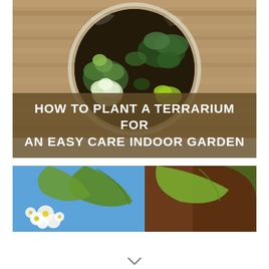[Figure (photo): Overhead view of a glass terrarium bowl containing various green succulent plants and dark soil on a wooden surface]
HOW TO PLANT A TERRARIUM FOR AN EASY CARE INDOOR GARDEN
[Figure (photo): Close-up photo of green plant leaves with white and yellow flowers against a blue sky background]